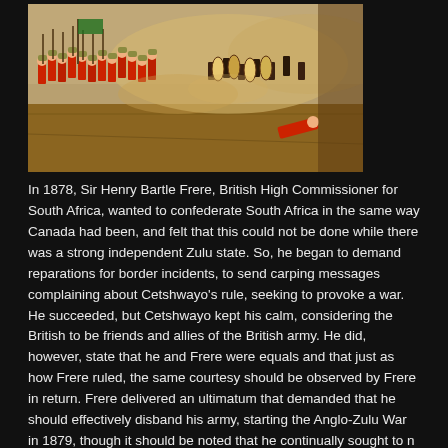[Figure (illustration): A painting depicting a battle scene between British soldiers in red coats and Zulu warriors, showing close combat with soldiers and fighters in a chaotic engagement on an open field.]
In 1878, Sir Henry Bartle Frere, British High Commissioner for South Africa, wanted to confederate South Africa in the same way Canada had been, and felt that this could not be done while there was a strong independent Zulu state. So, he began to demand reparations for border incidents, to send carping messages complaining about Cetshwayo's rule, seeking to provoke a war. He succeeded, but Cetshwayo kept his calm, considering the British to be friends and allies of the British army. He did, however, state that he and Frere were equals and that just as how Frere ruled, the same courtesy should be observed by Frere in return. Frere delivered an ultimatum that demanded that he should effectively disband his army, starting the Anglo-Zulu War in 1879, though it should be noted that he continually sought to negotiate, even after Isandhlwana. After an initial crushing but costly Zulu victory over the British center column, failure of the other two columns of the three-pronged British attack to help (due in part to the Siege of Eshowe), the British retreated, other columns suffering their own defeats, such as at the Battle of Intombe and the Battle of Hlobane. However, the Briti